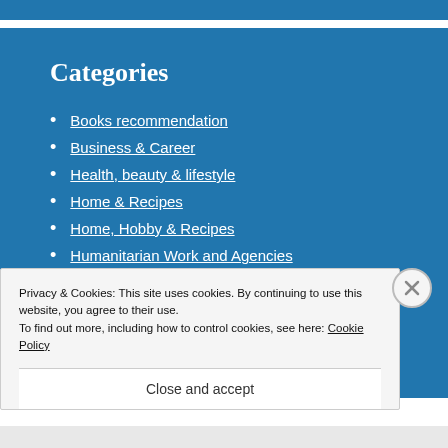Categories
Books recommendation
Business & Career
Health, beauty & lifestyle
Home & Recipes
Home, Hobby & Recipes
Humanitarian Work and Agencies
Privacy & Cookies: This site uses cookies. By continuing to use this website, you agree to their use. To find out more, including how to control cookies, see here: Cookie Policy
Close and accept